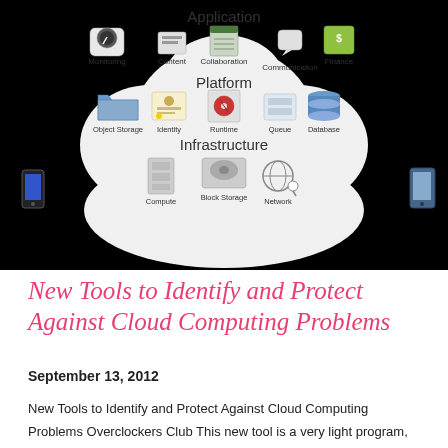[Figure (infographic): Cloud computing diagram on black background showing three layers: Application (Monitoring, Content, Collaboration, Communication, Finance), Platform (Object Storage, Identity, Runtime, Queue, Database), and Infrastructure (Compute, Block Storage, Network), with mobile devices on either side.]
New Tools to Identify and Protect Against Cloud Computing Problems
September 13, 2012
New Tools to Identify and Protect Against Cloud Computing Problems Overclockers Club This new tool is a very light program, taking less than 1% of a CPU's maximum load and